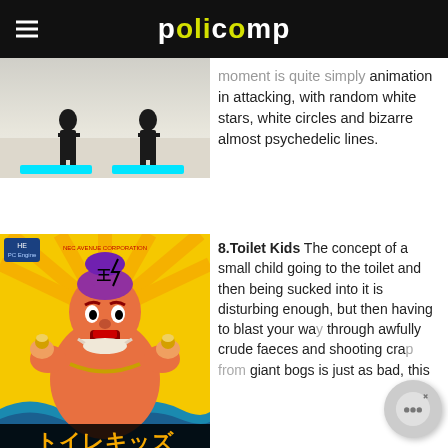policomp
[Figure (photo): Two dark silhouettes (figures) standing on a light/snowy surface with two cyan/turquoise horizontal bars at the bottom of the image]
moment is quite simply animation in attacking, with random white stars, white circles and bizarre almost psychedelic lines.
[Figure (illustration): Colorful cartoon illustration of a large character (man with headdress holding cups) on a yellow background with Japanese text at the bottom — Toilet Kids PC Engine game cover art]
8.Toilet Kids The concept of a small child going to the toilet and then being sucked into it is disturbing enough, but then having to blast your way through awfully crude faeces and shooting crap from giant bogs is just as bad, this